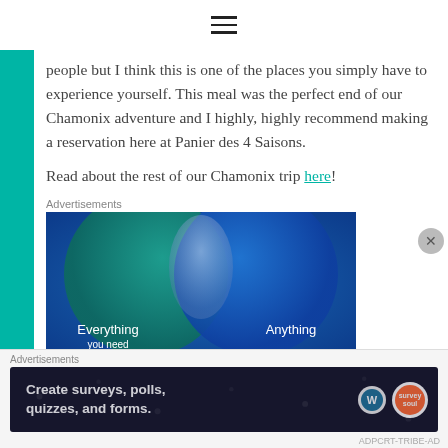≡
people but I think this is one of the places you simply have to experience yourself. This meal was the perfect end of our Chamonix adventure and I highly, highly recommend making a reservation here at Panier des 4 Saisons.
Read about the rest of our Chamonix trip here!
Advertisements
[Figure (infographic): Advertisement banner with two overlapping circles on blue/teal gradient background, labeled 'Everything' on left and 'Anything' on right.]
Advertisements
[Figure (infographic): Dark advertisement banner reading 'Create surveys, polls, quizzes, and forms.' with WordPress and brand logos.]
ADPCRT-TRIBE-AD